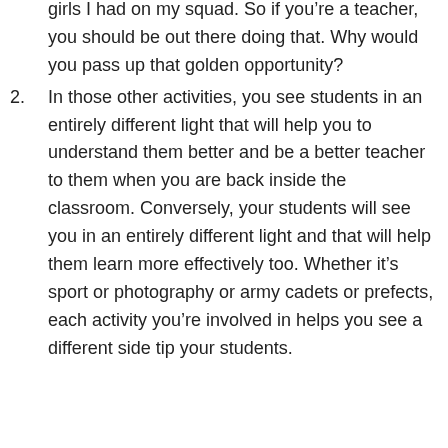girls I had on my squad. So if you’re a teacher, you should be out there doing that. Why would you pass up that golden opportunity?
In those other activities, you see students in an entirely different light that will help you to understand them better and be a better teacher to them when you are back inside the classroom. Conversely, your students will see you in an entirely different light and that will help them learn more effectively too. Whether it’s sport or photography or army cadets or prefects, each activity you’re involved in helps you see a different side tip your students.